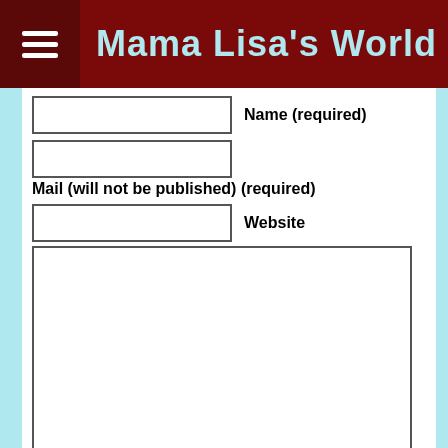Mama Lisa's World
Name (required)
Mail (will not be published) (required)
Website
[Figure (screenshot): reCAPTCHA widget with checkbox labeled 'I'm not a robot']